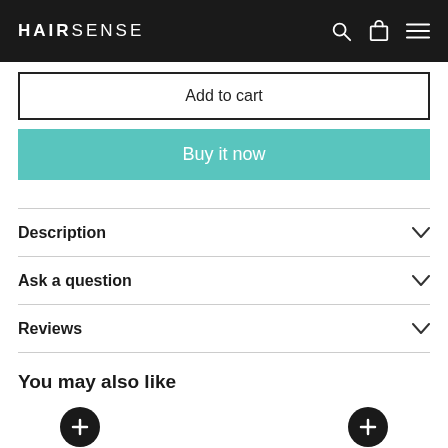HAIRSENSE
Add to cart
Buy it now
Description
Ask a question
Reviews
You may also like